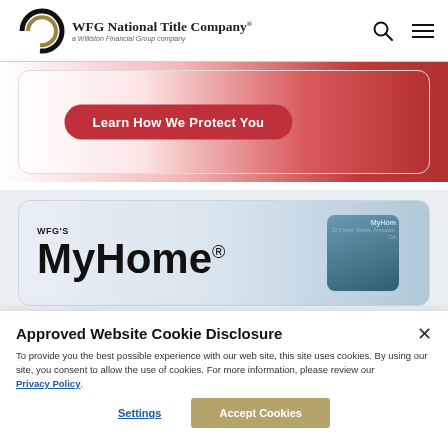[Figure (logo): WFG National Title Company logo with circular emblem and text 'a Williston Financial Group company']
[Figure (screenshot): Red banner with rounded rectangle border containing button 'Learn How We Protect You']
[Figure (screenshot): WFG's MyHome branded banner with phone device graphic on right side]
Approved Website Cookie Disclosure
To provide you the best possible experience with our web site, this site uses cookies. By using our site, you consent to allow the use of cookies. For more information, please review our Privacy Policy.
Settings
Accept Cookies